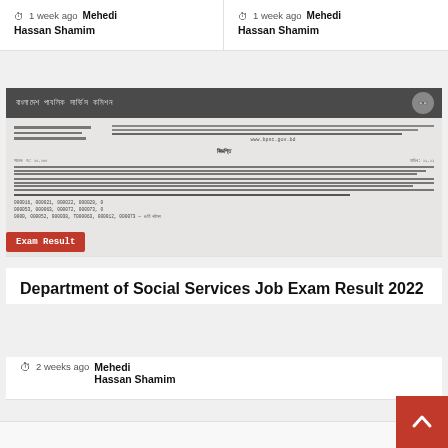1 week ago  Mehedi Hassan Shamim
1 week ago  Mehedi Hassan Shamim
[Figure (screenshot): Screenshot of a Bangladesh Public Service Commission (BPSC) official document showing exam results with roll numbers listed, with a red 'Exam Result' badge overlay]
Department of Social Services Job Exam Result 2022
2 weeks ago  Mehedi Hassan Shamim